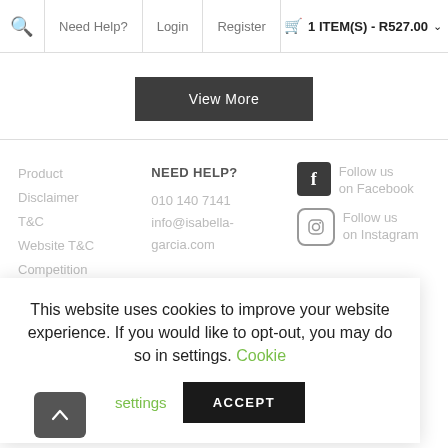🔍  Need Help?  Login  Register  🛒 1 ITEM(S) - R527.00 ˅
View More
Product
Disclaimer
T&C
Website T&C
Competition
NEED HELP?
010 140 7141
info@isabella-garcia.com
Follow us on Facebook
Follow us on Instagram
This website uses cookies to improve your website experience. If you would like to opt-out, you may do so in settings. Cookie settings
ACCEPT